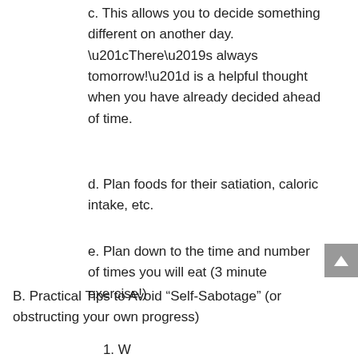c. This allows you to decide something different on another day. “There’s always tomorrow!” is a helpful thought when you have already decided ahead of time.
d. Plan foods for their satiation, caloric intake, etc.
e. Plan down to the time and number of times you will eat (3 minute exercise!)
B. Practical Tips to Avoid “Self-Sabotage” (or obstructing your own progress)
1. W...